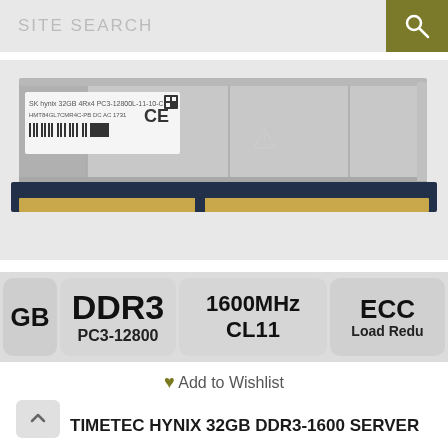SITE SEARCH
[Figure (photo): Hynix 32GB DDR3 server RAM stick with heat spreader, labeled 32GB 4Rx4 PC3-12800L-11-10-C8, with CE marking and barcode]
[Figure (infographic): Product spec badges showing: 32GB, DDR3 PC3-12800, 1600MHz CL11, ECC Load Reduced]
Add to Wishlist
TIMETEC HYNIX 32GB DDR3-1600 SERVER